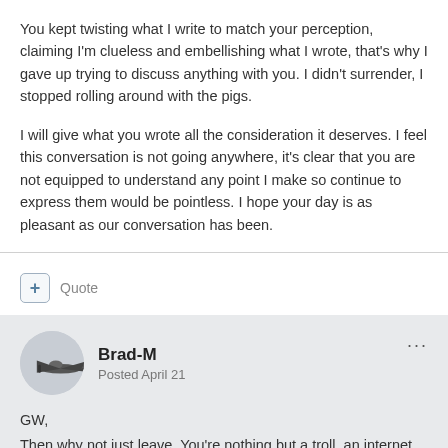You kept twisting what I write to match your perception, claiming I'm clueless and embellishing what I wrote, that's why I gave up trying to discuss anything with you. I didn't surrender, I stopped rolling around with the pigs.
I will give what you wrote all the consideration it deserves. I feel this conversation is not going anywhere, it's clear that you are not equipped to understand any point I make so continue to express them would be pointless. I hope your day is as pleasant as our conversation has been.
+ Quote
Brad-M
Posted April 21
GW,
Then why not just leave. You're nothing but a troll, an internet